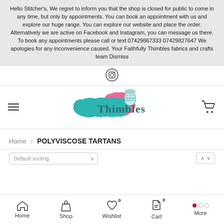Hello Stitcher's, We regret to inform you that the shop is closed for public to come in any time, but only by appointments. You can book an appointment with us and explore our huge range. You can explore our website and place the order. Alternatively we are active on Facebook and Instagram, you can message us there. To book any appointments please call or text 07429867333 07429827647 We apologies for any inconvenience caused. Your Faithfully Thimbles fabrics and crafts team Dismiss
[Figure (logo): Instagram icon (circle with camera outline)]
[Figure (logo): Thimbles Fabrics & Crafts logo with teal and pink fabric patches and thimble illustration]
Home > POLYVISCOSE TARTANS
Default sorting
[Figure (infographic): Bottom navigation bar with Home, Shop, Wishlist, Cart, More icons]